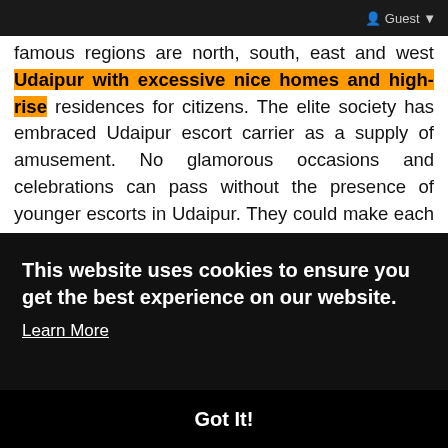Guest
famous regions are north, south, east and west Udaipur with excessive nice homes and high-rise residences for citizens. The elite society has embraced Udaipur escort carrier as a supply of amusement. No glamorous occasions and celebrations can pass without the presence of younger escorts in Udaipur. They could make each event energetic and relatively colourful with their sports. That is why each hobbyist desires a piece in their offerings in satisfied moments.
The excellent element is that our woman escorts in Udaipur are serving in all circumstance ons. Whether it's a short-term or a long-range, Udaipur escort service is the best human resource that works all across the rooms over all time. Facility the closest in Udaipur has shown to be really brilliant expert for giving...
This website uses cookies to ensure you get the best experience on our website.
Learn More
Got It!